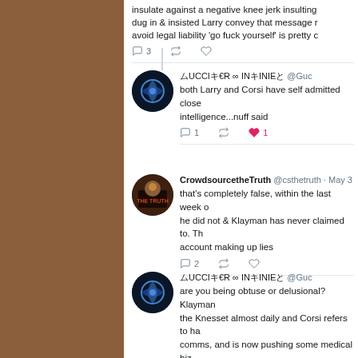insulate against a negative knee jerk insulting dug in & insisted Larry convey that message r avoid legal liability 'go fuck yourself' is pretty c
ムUCCIキ€R ∞ INキINIEと @Guc
both Larry and Corsi have self admitted close intelligence...nuff said
CrowdsourcetheTruth @csthetruth · May 3
that's completely false, within the last week o he did not & Klayman has never claimed to. Th account making up lies
ムUCCIキ€R ∞ INキINIEと @Guc
are you being obtuse or delusional? Klayman the Knesset almost daily and Corsi refers to ha comms, and is now pushing some medical biz supremacist...